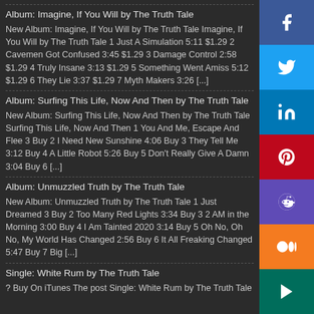Album: Imagine, If You Will by The Truth Tale
New Album: Imagine, If You Will by The Truth Tale Imagine, If You Will by The Truth Tale 1 Just A Simulation 5:11 $1.29 2 Cavemen Got Confused 3:45 $1.29 3 Damage Control 2:58 $1.29 4 Truly Insane 3:13 $1.29 5 Something Went Amiss 5:12 $1.29 6 They Lie 3:37 $1.29 7 Myth Makers 3:26 [...]
Album: Surfing This Life, Now And Then by The Truth Tale
New Album: Surfing This Life, Now And Then by The Truth Tale Surfing This Life, Now And Then 1 You And Me, Escape And Flee 3 Buy 2 I Need New Sunshine 4:06 Buy 3 They Tell Me 3:12 Buy 4 A Little Robot 5:26 Buy 5 Don't Really Give A Damn 3:04 Buy 6 [...]
Album: Unmuzzled Truth by The Truth Tale
New Album: Unmuzzled Truth by The Truth Tale 1 Just Dreamed 3 Buy 2 Too Many Red Lights 3:34 Buy 3 2 AM in the Morning 3:00 Buy 4 I Am Tainted 2020 3:14 Buy 5 Oh No, Oh No, My World Has Changed 2:56 Buy 6 It All Freaking Changed 5:47 Buy 7 Big [...]
Single: White Rum by The Truth Tale
? Buy On iTunes The post Single: White Rum by The Truth Tale appeared on...